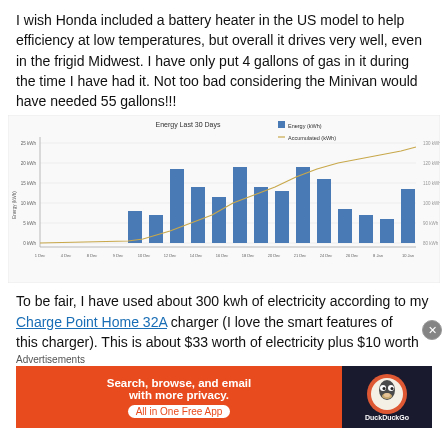I wish Honda included a battery heater in the US model to help efficiency at low temperatures, but overall it drives very well, even in the frigid Midwest.  I have only put 4 gallons of gas in it during the time I have had it. Not too bad considering the Minivan would have needed 55 gallons!!!
[Figure (bar-chart): Bar chart showing energy (kWh) per day over the last 30 days with an accumulated (kWh) line overlay. Bars are blue, line is gold/tan. X-axis shows dates from 1 Dec to 10 Jan. Y-axis left shows Energy (kWh), Y-axis right shows Accumulated (kWh).]
To be fair, I have used about 300 kwh of electricity according to my Charge Point Home 32A charger (I love the smart features of this charger). This is about $33 worth of electricity plus $10 worth
Advertisements
[Figure (infographic): DuckDuckGo advertisement banner: 'Search, browse, and email with more privacy. All in One Free App' on orange background with DuckDuckGo logo on dark background.]